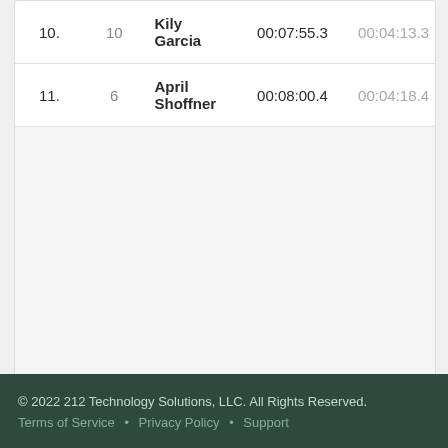| # | Bib | Name | Time | Pace |
| --- | --- | --- | --- | --- |
| 10. | 10 | Kily Garcia | 00:07:55.3 | 00:04:13.3 |
| 11. | 6 | April Shoffner | 00:08:00.4 | 00:04:18.4 |
© 2022 212 Technology Solutions, LLC. All Rights Reserved.
Terms of Service • Privacy Policy • Support